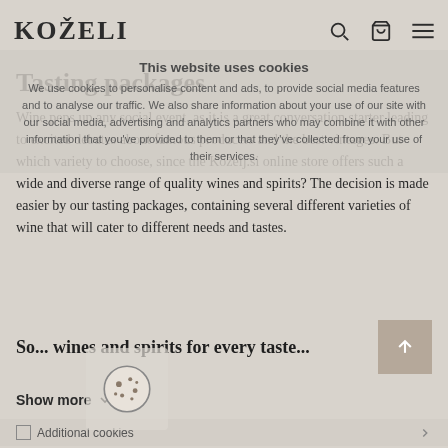KOŽELI
This website uses cookies
We use cookies to personalise content and ads, to provide social media features and to analyse our traffic. We also share information about your use of our site with our social media, advertising and analytics partners who may combine it with other information that you've provided to them or that they've collected from your use of their services.
Tasting packages
Wine peps up any social event, as it is a great conversation starter leading to excited debates about famous producers and the best vintages. But which variety to choose, since the Koželj.si online store offers such a wide and diverse range of quality wines and spirits? The decision is made easier by our tasting packages, containing several different varieties of wine that will cater to different needs and tastes.
So... wines and spirits for every taste...
Show more
Additional cookies